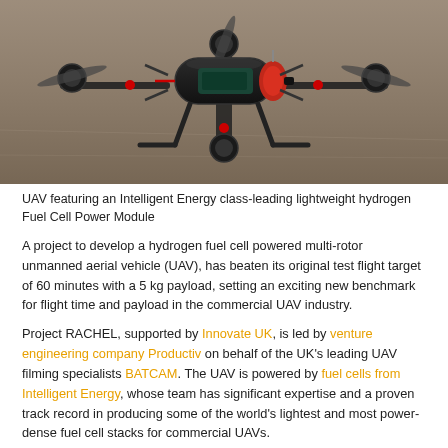[Figure (photo): Photograph of a multi-rotor UAV (drone) with a hydrogen fuel cell power module mounted centrally, viewed from the front/side, sitting on a concrete floor in what appears to be a warehouse or hangar.]
UAV featuring an Intelligent Energy class-leading lightweight hydrogen Fuel Cell Power Module
A project to develop a hydrogen fuel cell powered multi-rotor unmanned aerial vehicle (UAV), has beaten its original test flight target of 60 minutes with a 5 kg payload, setting an exciting new benchmark for flight time and payload in the commercial UAV industry.
Project RACHEL, supported by Innovate UK, is led by venture engineering company Productiv on behalf of the UK's leading UAV filming specialists BATCAM. The UAV is powered by fuel cells from Intelligent Energy, whose team has significant expertise and a proven track record in producing some of the world's lightest and most power-dense fuel cell stacks for commercial UAVs.
The initial target of the project was to achieve 60 minutes of continuous flight while carrying a 5 kg payload. The Lithium Polymer battery powered UAVs flown by BATCAM allow around 12 minutes of useable flight. The recent test of